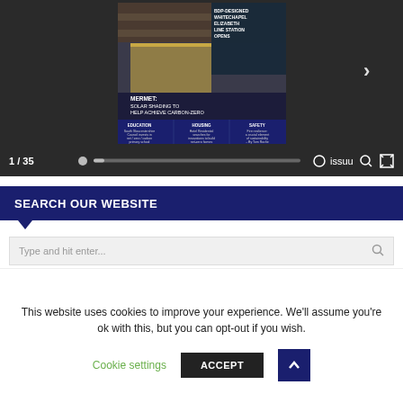[Figure (screenshot): Issuu magazine viewer showing a magazine cover with architecture/design content. Page indicator shows 1/35 with a progress bar, Issuu logo, search and fullscreen icons. A right arrow chevron appears on the right side of the viewer.]
SEARCH OUR WEBSITE
Type and hit enter...
This website uses cookies to improve your experience. We'll assume you're ok with this, but you can opt-out if you wish.
Cookie settings
ACCEPT